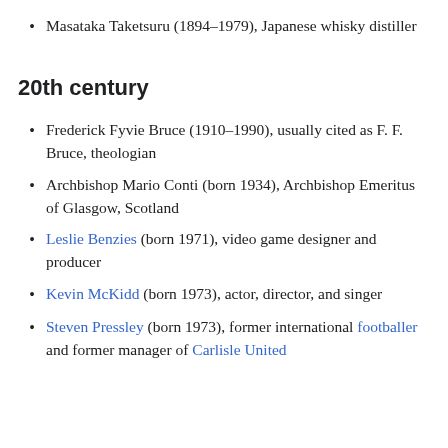Masataka Taketsuru (1894–1979), Japanese whisky distiller
20th century
Frederick Fyvie Bruce (1910–1990), usually cited as F. F. Bruce, theologian
Archbishop Mario Conti (born 1934), Archbishop Emeritus of Glasgow, Scotland
Leslie Benzies (born 1971), video game designer and producer
Kevin McKidd (born 1973), actor, director, and singer
Steven Pressley (born 1973), former international footballer and former manager of Carlisle United